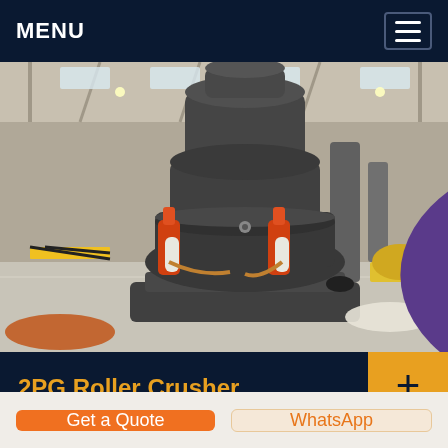MENU
[Figure (photo): Industrial roller crusher machine (2PG Roller Crusher) in a factory floor setting, showing a large grey cone crusher with orange hydraulic cylinders, inside a spacious industrial warehouse with steel roof structure.]
2PG Roller Crusher
Double roller crusher is a new type crusher
Get a Quote
WhatsApp